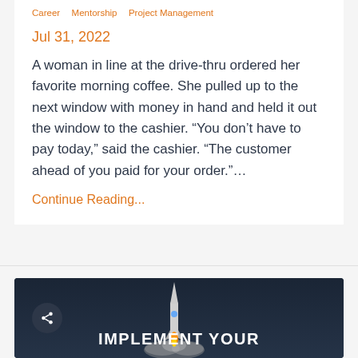Career   Mentorship   Project Management
Jul 31, 2022
A woman in line at the drive-thru ordered her favorite morning coffee. She pulled up to the next window with money in hand and held it out the window to the cashier. “You don’t have to pay today,” said the cashier. “The customer ahead of you paid for your order.”…
Continue Reading...
[Figure (photo): Dark navy background with a rocket launching, share icon button on the left, and bold white text reading IMPLEMENT YOUR at the bottom.]